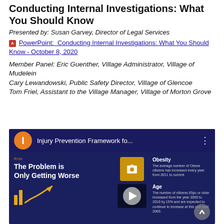Conducting Internal Investigations: What You Should Know
Presented by: Susan Garvey, Director of Legal Services
PowerPoint: Conducting Internal Investigations: What You Should Know - October 8, 2020
Member Panel: Eric Guenther, Village Administrator, Village of Mudelein
Cary Lewandowski, Public Safety Director, Village of Glencoe
Tom Friel, Assistant to the Village Manager, Village of Morton Grove
[Figure (screenshot): YouTube video thumbnail showing 'Injury Prevention Framework fo...' with a dark blue background, an orange avatar icon with letter I, play button overlay, and infographic content about 'The Problem is Only Getting Worse' with Obesity and Age risk factors.]